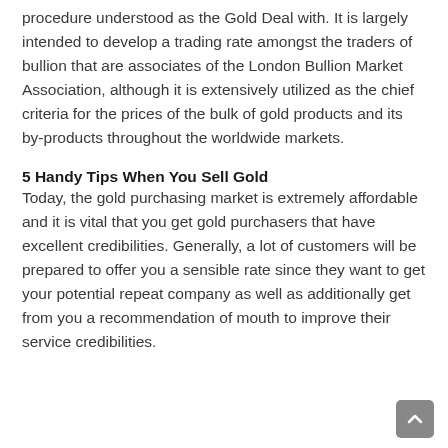procedure understood as the Gold Deal with. It is largely intended to develop a trading rate amongst the traders of bullion that are associates of the London Bullion Market Association, although it is extensively utilized as the chief criteria for the prices of the bulk of gold products and its by-products throughout the worldwide markets.
5 Handy Tips When You Sell Gold
Today, the gold purchasing market is extremely affordable and it is vital that you get gold purchasers that have excellent credibilities. Generally, a lot of customers will be prepared to offer you a sensible rate since they want to get your potential repeat company as well as additionally get from you a recommendation of mouth to improve their service credibilities.